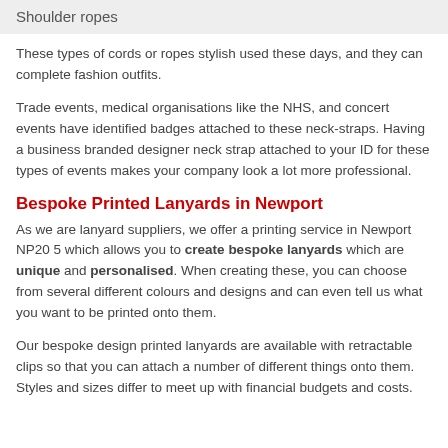Shoulder ropes
These types of cords or ropes stylish used these days, and they can complete fashion outfits.
Trade events, medical organisations like the NHS, and concert events have identified badges attached to these neck-straps. Having a business branded designer neck strap attached to your ID for these types of events makes your company look a lot more professional.
Bespoke Printed Lanyards in Newport
As we are lanyard suppliers, we offer a printing service in Newport NP20 5 which allows you to create bespoke lanyards which are unique and personalised. When creating these, you can choose from several different colours and designs and can even tell us what you want to be printed onto them.
Our bespoke design printed lanyards are available with retractable clips so that you can attach a number of different things onto them. Styles and sizes differ to meet up with financial budgets and costs.